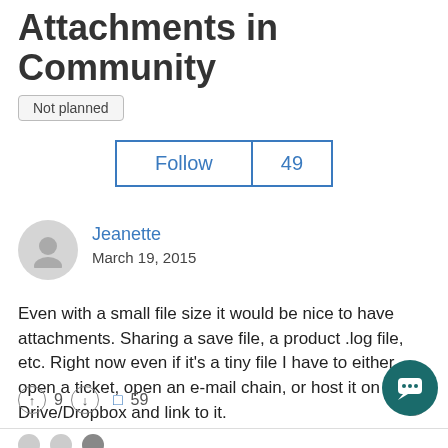Attachments in Community
Not planned
Follow 49
Jeanette
March 19, 2015
Even with a small file size it would be nice to have attachments.  Sharing a save file, a product .log file, etc.  Right now even if it's a tiny file I have to either open a ticket, open an e-mail chain, or host it on Drive/Dropbox and link to it.
9  59